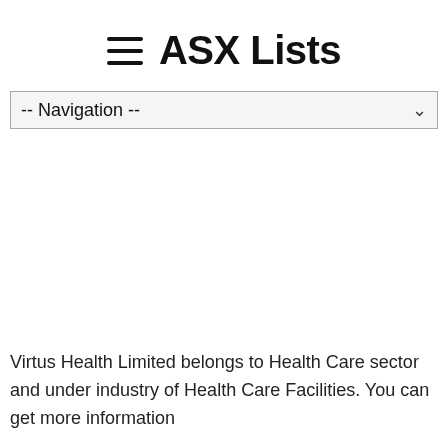ASX Lists
-- Navigation --
Virtus Health Limited belongs to Health Care sector and under industry of Health Care Facilities. You can get more information